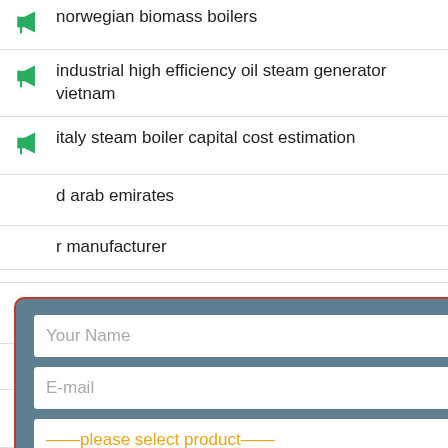norwegian biomass boilers
industrial high efficiency oil steam generator vietnam
italy steam boiler capital cost estimation
...d arab emirates
...r manufacturer
...st pipeline boiler
...ia
biomass pellet burner for asphalt mixing plant
szs wns boiler biomass
hot water boiler wood chips korea
[Figure (screenshot): A modal popup form over a list of search results. The form has fields: Your Name, E-mail, a dropdown '----please select product----', a capacity field, and a SUBMIT button. The modal has a teal/dark background with a red border. There is an X close button in the top right.]